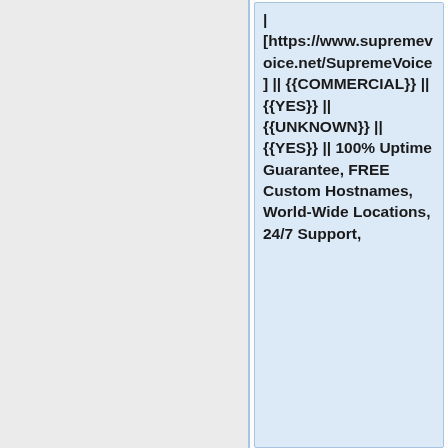| [https://www.supremevoice.net/SupremeVoice] || {{COMMERCIAL}} || {{YES}} || {{UNKNOWN}} || {{YES}} || 100% Uptime Guarantee, FREE Custom Hostnames, World-Wide Locations, 24/7 Support,